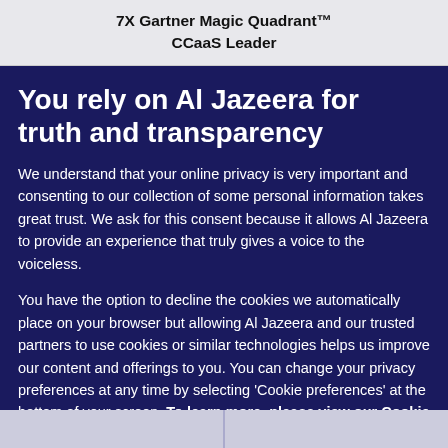7X Gartner Magic Quadrant™ CCaaS Leader
You rely on Al Jazeera for truth and transparency
We understand that your online privacy is very important and consenting to our collection of some personal information takes great trust. We ask for this consent because it allows Al Jazeera to provide an experience that truly gives a voice to the voiceless.
You have the option to decline the cookies we automatically place on your browser but allowing Al Jazeera and our trusted partners to use cookies or similar technologies helps us improve our content and offerings to you. You can change your privacy preferences at any time by selecting 'Cookie preferences' at the bottom of your screen. To learn more, please view our Cookie Policy.